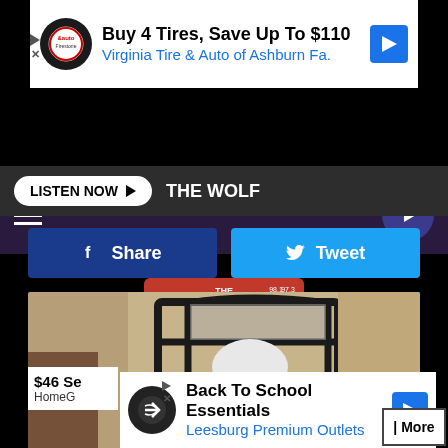[Figure (screenshot): Advertisement banner: Buy 4 Tires, Save Up To $110 - Virginia Tire & Auto of Ashburn Fa.]
[Figure (logo): The Wolf radio station logo - 98.1, 97.3, 105.5]
LISTEN NOW ► THE WOLF
[Figure (screenshot): Facebook Share button and Twitter Tweet button]
[Figure (photo): Security camera shaped like a light bulb installed in an outdoor wall lantern fixture on a stucco wall]
[Figure (screenshot): Advertisement banner: Back To School Essentials - Leesburg Premium Outlets]
$46 Se
HomeG
More